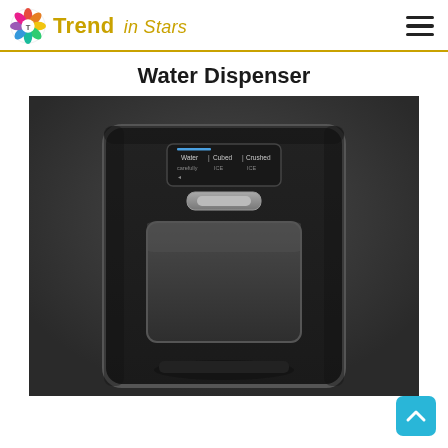Trend in Stars
Water Dispenser
[Figure (photo): Close-up photo of a refrigerator water and ice dispenser recessed into a dark stainless steel door, showing a small LCD control panel with Water, Cubed, and Crushed options, a paddle dispenser lever, and a large rectangular drip tray area.]